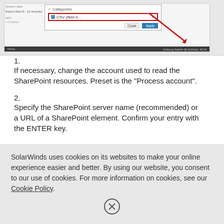[Figure (screenshot): Screenshot of a UI dialog showing a filter/categories input field with a red border highlight and a red arrow pointing to it, with Close and Apply buttons.]
If necessary, change the account used to read the SharePoint resources. Preset is the "Process account".
Specify the SharePoint server name (recommended) or a URL of a SharePoint element. Confirm your entry with the ENTER key.
If you specify the name of the server you can later conveniently select the elements to be integrated. For this feature, WinRM must be configured and
SolarWinds uses cookies on its websites to make your online experience easier and better. By using our website, you consent to our use of cookies. For more information on cookies, see our Cookie Policy.